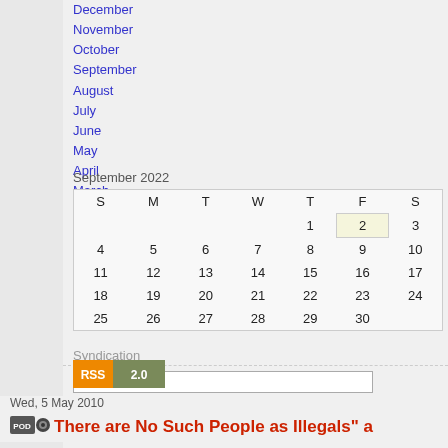December
November
October
September
August
July
June
May
April
March
February
January
| S | M | T | W | T | F | S |
| --- | --- | --- | --- | --- | --- | --- |
|  |  |  |  | 1 | 2 | 3 |
| 4 | 5 | 6 | 7 | 8 | 9 | 10 |
| 11 | 12 | 13 | 14 | 15 | 16 | 17 |
| 18 | 19 | 20 | 21 | 22 | 23 | 24 |
| 25 | 26 | 27 | 28 | 29 | 30 |  |
Syndication
[Figure (logo): RSS 2.0 badge]
Wed, 5 May 2010
There are No Such People as Illegals" a